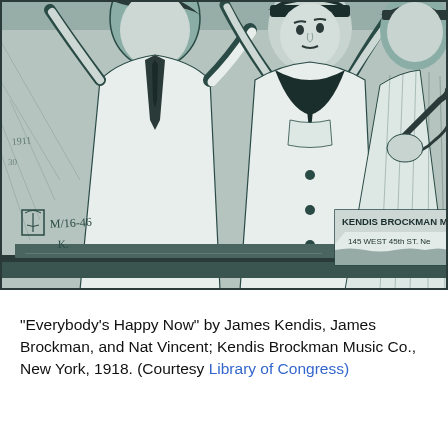[Figure (illustration): A vintage ink illustration showing a woman in a sailor-style outfit with arms raised joyfully, flanked by two men. One man appears to be playing a string instrument. The scene is rendered in dark teal/blue-gray ink lines on a lighter gray background. In the lower right corner, text reads 'KENDIS BROCKMAN' and '145 WEST 45th ST.' A small decorative mark and handwritten notations appear in the lower left.]
"Everybody's Happy Now" by James Kendis, James Brockman, and Nat Vincent; Kendis Brockman Music Co., New York, 1918. (Courtesy Library of Congress)